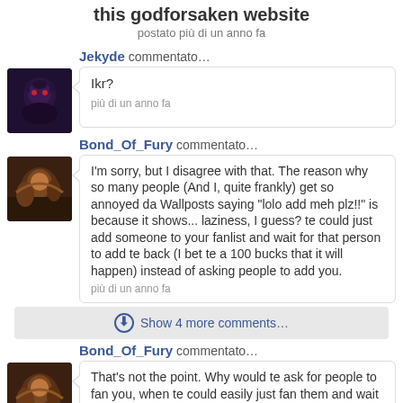this godforsaken website
postato più di un anno fa
Jekyde commentato…
Ikr?
pià di un anno fa
Bond_Of_Fury commentato…
I'm sorry, but I disagree with that. The reason why so many people (And I, quite frankly) get so annoyed da Wallposts saying "lolo add meh plz!!" is because it shows... laziness, I guess? te could just add someone to your fanlist and wait for that person to add te back (I bet te a 100 bucks that it will happen) instead of asking people to add you.
pià di un anno fa
Show 4 more comments…
Bond_Of_Fury commentato…
That's not the point. Why would te ask for people to fan you, when te could easily just fan them and wait for them to